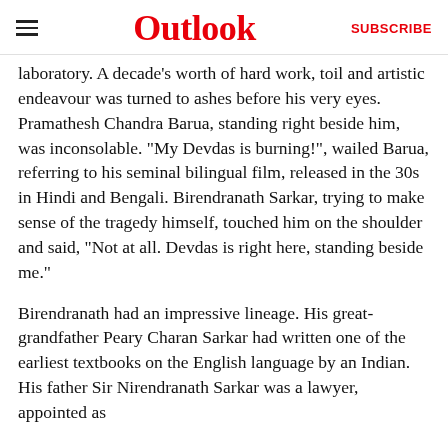Outlook | SUBSCRIBE
laboratory. A decade’s worth of hard work, toil and artistic endeavour was turned to ashes before his very eyes. Pramathesh Chandra Barua, standing right beside him, was inconsolable. “My Devdas is burning!”, wailed Barua, referring to his seminal bilingual film, released in the 30s in Hindi and Bengali. Birendranath Sarkar, trying to make sense of the tragedy himself, touched him on the shoulder and said, “Not at all. Devdas is right here, standing beside me.”
Birendranath had an impressive lineage. His great-grandfather Peary Charan Sarkar had written one of the earliest textbooks on the English language by an Indian. His father Sir Nirendranath Sarkar was a lawyer, appointed as